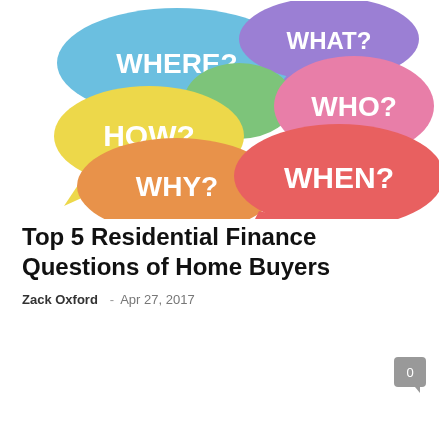[Figure (illustration): Colorful speech bubbles with question words: WHERE? (blue), WHAT? (purple), HOW? (yellow), WHO? (pink/red), WHY? (orange), WHEN? (red/coral), and a green bubble in the center. White background.]
Top 5 Residential Finance Questions of Home Buyers
Zack Oxford – Apr 27, 2017